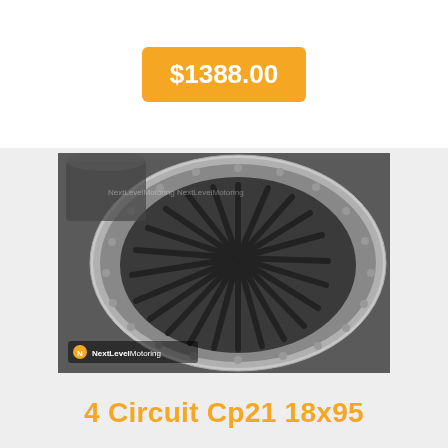$1388.00
[Figure (photo): A multi-spoke alloy wheel (dark gunmetal center with polished lip) branded NextLevelMotoring, shown at an angle against a white background.]
4 Circuit Cp21 18x95